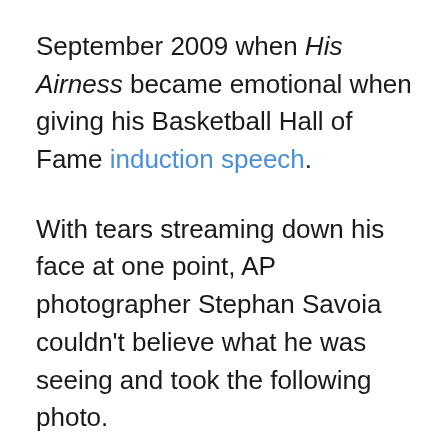September 2009 when His Airness became emotional when giving his Basketball Hall of Fame induction speech.
With tears streaming down his face at one point, AP photographer Stephan Savoia couldn't believe what he was seeing and took the following photo.
But interestingly enough, it wasn't until a few years later that the meme truly began to gain traction in the media. The video below highlights the myriad of ways in which the "Crying Jordan" meme has since taken on a life